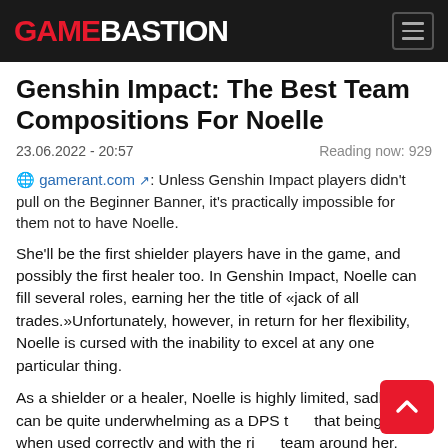GAMEBASTION
Genshin Impact: The Best Team Compositions For Noelle
23.06.2022 - 20:57   Reading now: 929
gamerant.com: Unless Genshin Impact players didn't pull on the Beginner Banner, it's practically impossible for them not to have Noelle.
She'll be the first shielder players have in the game, and possibly the first healer too. In Genshin Impact, Noelle can fill several roles, earning her the title of «jack of all trades.»Unfortunately, however, in return for her flexibility, Noelle is cursed with the inability to excel at any one particular thing.
As a shielder or a healer, Noelle is highly limited, sadly, she can be quite underwhelming as a DPS too; that being said, when used correctly and with the right team around her, Noelle can still be useful.Genshin